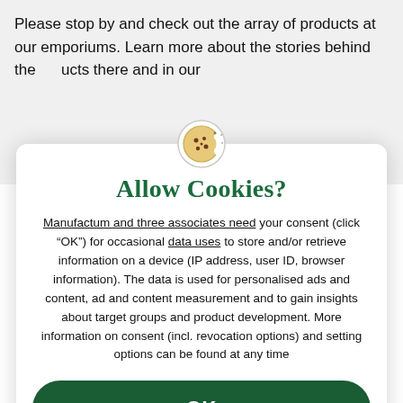Please stop by and check out the array of products at our emporiums. Learn more about the stories behind the products there and in our
[Figure (illustration): Cookie consent dialog modal with a cookie icon, 'Allow Cookies?' title, consent text, OK button, and footer links for Reject Cookies and More information]
Allow Cookies?
Manufactum and three associates need your consent (click "OK") for occasional data uses to store and/or retrieve information on a device (IP address, user ID, browser information). The data is used for personalised ads and content, ad and content measurement and to gain insights about target groups and product development. More information on consent (incl. revocation options) and setting options can be found at any time
OK
Reject Cookies
More information